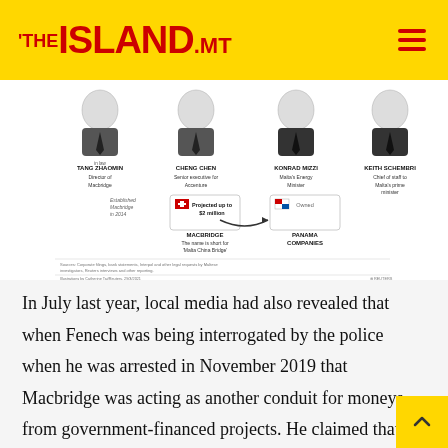THE ISLAND.MT
[Figure (infographic): Reuters infographic showing Tang Zhaomin (Director of Macbridge), Cheng Chen (Senior executive for Accenture), Konrad Mizzi (Malta's Energy Minister), Keith Schembri (Chief of staff to Malta's prime minister). Shows Macbridge established in 2014, projected up to $2 million, connected to Panama Companies. Sources: Corporate filings, bank statements, Interpol and other legal requests by Maltese investigators, Reuters interviews and other reporting. Illustrations by Catherine Tai/Reuters, 29/3/2021.]
In July last year, local media had also revealed that when Fenech was being interrogated by the police when he was arrested in November 2019 that Macbridge was acting as another conduit for moneys from government-financed projects. He claimed that he knew the reason